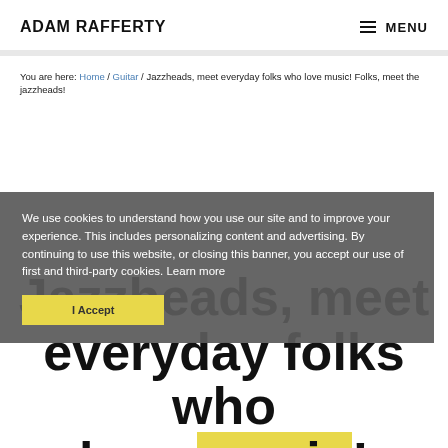ADAM RAFFERTY   ☰ MENU
You are here: Home / Guitar / Jazzheads, meet everyday folks who love music! Folks, meet the jazzheads!
We use cookies to understand how you use our site and to improve your experience. This includes personalizing content and advertising. By continuing to use this website, or closing this banner, you accept our use of first and third-party cookies. Learn more
Jazzheads, meet everyday folks who love music! Folks, meet the jazzheads!